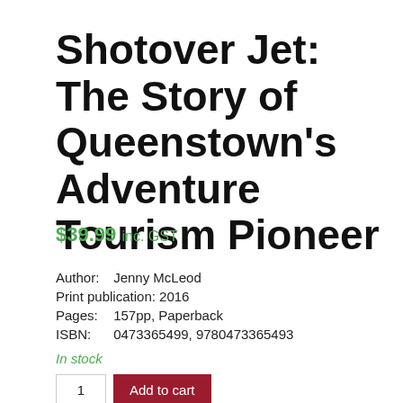Shotover Jet: The Story of Queenstown's Adventure Tourism Pioneer
$39.99 inc. GST
Author:   Jenny McLeod
Print publication: 2016
Pages:   157pp, Paperback
ISBN:    0473365499, 9780473365493
In stock